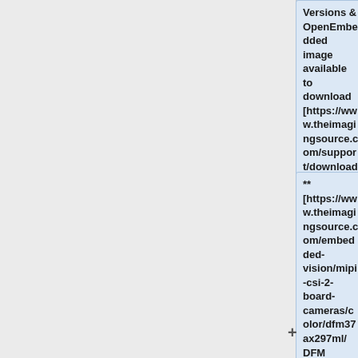Versions & OpenEmbedded image available to download [https://www.theimagingsource.com/support/downloads-for-linux/ here])
** [https://www.theimagingsource.com/embedded-vision/mipi-csi-2-board-cameras/color/dfm37ax297ml/ DFM 37AX297-ML (available with S-Mount and C/CS-Mount)] 0.4MP, 120fps, Sony